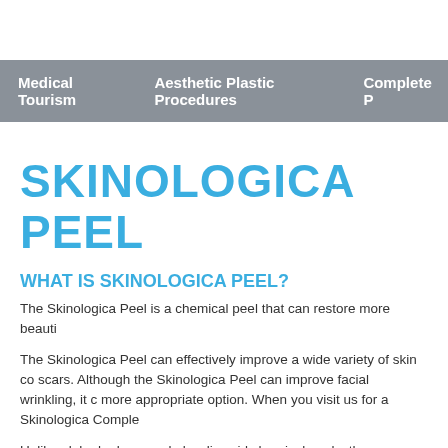Medical Tourism   Aesthetic Plastic Procedures   Complete ...
SKINOLOGICA PEEL
WHAT IS SKINOLOGICA PEEL?
The Skinologica Peel is a chemical peel that can restore more beauti...
The Skinologica Peel can effectively improve a wide variety of skin co... scars. Although the Skinologica Peel can improve facial wrinkling, it c... more appropriate option. When you visit us for a Skinologica Comple...
Unlike alpha hydroxy and glycolic acid chemical peels, the Skinologic... remove dead skin cells and stimulate the production of new skin cells... slow action of the Skinologica Peel solution enables us to control the... appearance and tightens the skin.